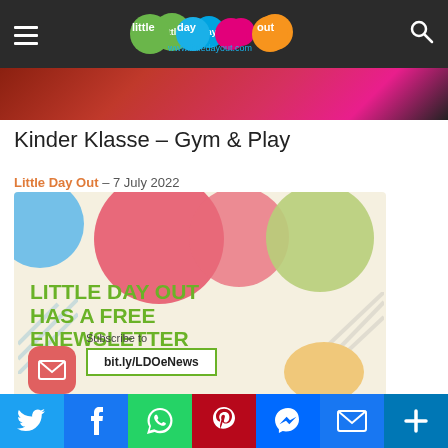Little Day Out – www.littledayout.com
[Figure (photo): Hero image strip showing colorful gymnastic scene in dark tones]
Kinder Klasse – Gym & Play
Little Day Out – 7 July 2022
[Figure (infographic): Little Day Out has a free eNewsletter promotional banner with colorful circles, email envelope icon, Subscribe to bit.ly/LDOeNews]
[Figure (infographic): Social share buttons: Twitter, Facebook, WhatsApp, Pinterest, Messenger, Email, More]